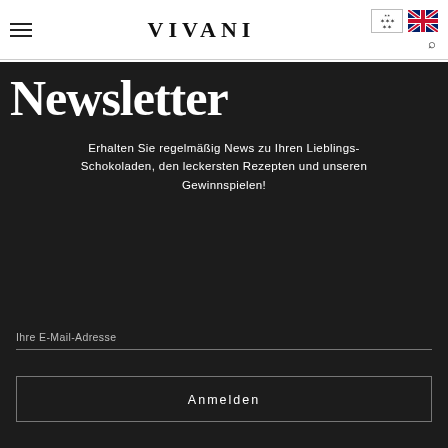VIVANI
Newsletter
Erhalten Sie regelmäßig News zu Ihren Lieblings-Schokoladen, den leckersten Rezepten und unseren Gewinnspielen!